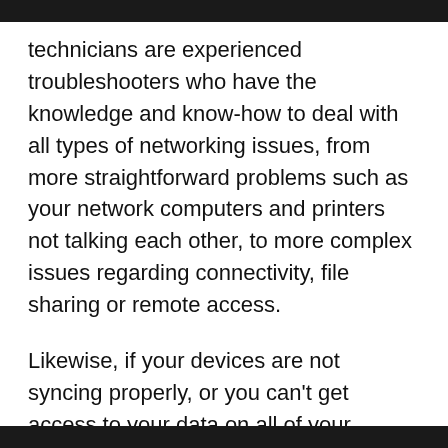technicians are experienced troubleshooters who have the knowledge and know-how to deal with all types of networking issues, from more straightforward problems such as your network computers and printers not talking each other, to more complex issues regarding connectivity, file sharing or remote access.
Likewise, if your devices are not syncing properly, or you can't get access to your data on all of your networked computers and devices, call us and our highly-trained Adelaide computer repair service technicians will come to your home or office to...